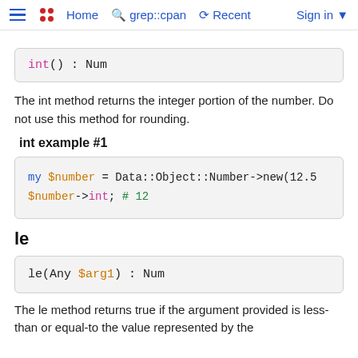≡  Home  grep::cpan  Recent  Sign in
The int method returns the integer portion of the number. Do not use this method for rounding.
int example #1
le
The le method returns true if the argument provided is less-than or equal-to the value represented by the